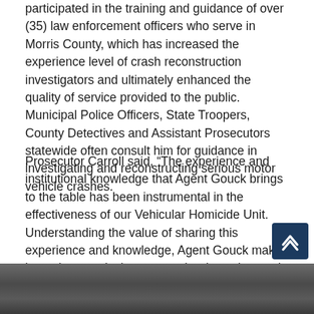participated in the training and guidance of over (35) law enforcement officers who serve in Morris County, which has increased the experience level of crash reconstruction investigators and ultimately enhanced the quality of service provided to the public. Municipal Police Officers, State Troopers, County Detectives and Assistant Prosecutors statewide often consult him for guidance in investigating and reconstructing serious motor vehicle crashes.
Prosecutor Carroll said, “The experience and institutional knowledge that Agent Gouck brings to the table has been instrumental in the effectiveness of our Vehicular Homicide Unit. Understanding the value of sharing this experience and knowledge, Agent Gouck makes it a point to actively mentor other investigators in this specialty field to ensure unit success for years to come.”
[Figure (photo): Bottom strip of a photograph showing people, partially visible at the bottom of the page]